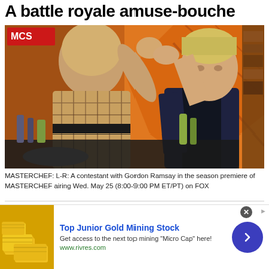A battle royale amuse-bouche
[Figure (photo): A contestant high-fiving Gordon Ramsay across a kitchen counter in the MasterChef studio, with orange decorative background panels.]
MASTERCHEF: L-R: A contestant with Gordon Ramsay in the season premiere of MASTERCHEF airing Wed. May 25 (8:00-9:00 PM ET/PT) on FOX
While the audition stage of a "MasterChef" season is
[Figure (other): Advertisement: Top Junior Gold Mining Stock. Get access to the next top mining "Micro Cap" here! www.rivres.com]